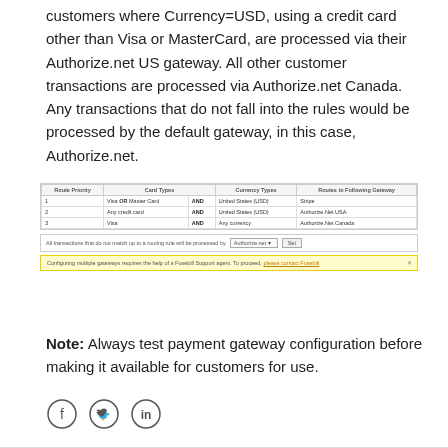customers where Currency=USD, using a credit card other than Visa or MasterCard, are processed via their Authorize.net US gateway. All other customer transactions are processed via Authorize.net Canada. Any transactions that do not fall into the rules would be processed by the default gateway, in this case, Authorize.net.
[Figure (screenshot): Screenshot of payment gateway routing rules table with three rows: 1) Visa OR Master Card AND United States (USD) → Stripe; 2) Any credit card AND United States (USD) → Authorize.Net USA; 3) Visa AND Any currency → Authorize.Net Canada. Below is a default gateway selector showing 'Authorize.net' and a yellow warning bar about configuring multiple gateways.]
Note: Always test payment gateway configuration before making it available for customers for use.
[Figure (other): Social media icons: Facebook, Twitter, LinkedIn]